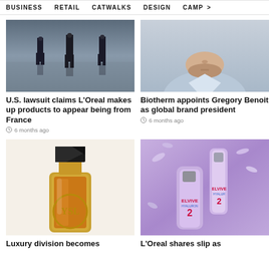BUSINESS   RETAIL   CATWALKS   DESIGN   CAMP >
[Figure (photo): Two people walking across a plaza, dark muted tones]
U.S. lawsuit claims L'Oreal makes up products to appear being from France
6 months ago
[Figure (photo): Close-up portrait of a man with beard in light blue shirt]
Biotherm appoints Gregory Benoit as global brand president
6 months ago
[Figure (photo): YSL Libre perfume bottle with gold and black cap on white background]
[Figure (photo): L'Oreal Elvive Hyaluron Plump hair products on purple background]
Luxury division becomes
L'Oreal shares slip as